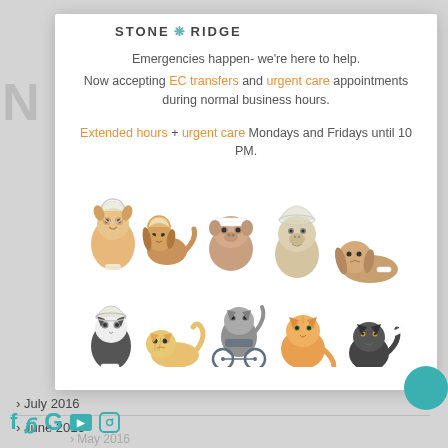[Figure (logo): Stone Ridge logo with paw print icon]
Emergencies happen- we're here to help. Now accepting EC transfers and urgent care appointments during normal business hours.
Extended hours + urgent care Mondays and Fridays until 10 PM.
[Figure (illustration): Cartoon illustration of injured dogs and cats with medical accessories like cones, bandages, and wheelchair]
> July 2016
> June 2016
> May 2016